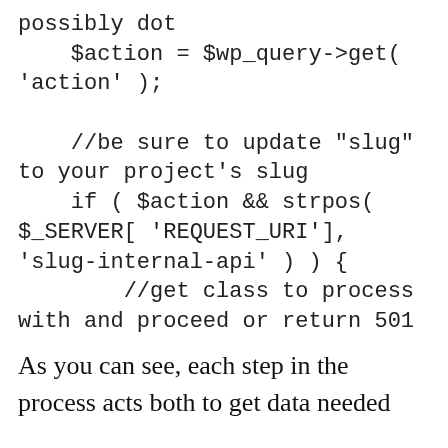possibly dot
    $action = $wp_query->get(
'action' );

    //be sure to update "slug"
to your project's slug
    if ( $action && strpos(
$_SERVER[ 'REQUEST_URI'],
'slug-internal-api' ) ) {
        //get class to process
with and proceed or return 501
As you can see, each step in the process acts both to get data needed